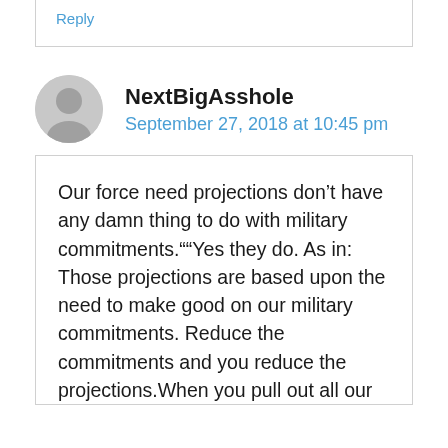Reply
NextBigAsshole
September 27, 2018 at 10:45 pm
Our force need projections don't have any damn thing to do with military commitments.""Yes they do. As in: Those projections are based upon the need to make good on our military commitments. Reduce the commitments and you reduce the projections.When you pull out all our